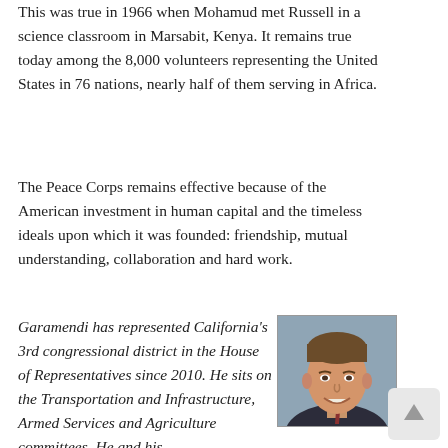This was true in 1966 when Mohamud met Russell in a science classroom in Marsabit, Kenya. It remains true today among the 8,000 volunteers representing the United States in 76 nations, nearly half of them serving in Africa.
The Peace Corps remains effective because of the American investment in human capital and the timeless ideals upon which it was founded: friendship, mutual understanding, collaboration and hard work.
Garamendi has represented California's 3rd congressional district in the House of Representatives since 2010. He sits on the Transportation and Infrastructure, Armed Services and Agriculture committees. He and his
[Figure (photo): Portrait photo of a smiling middle-aged man in a suit and tie against a blue-grey background.]